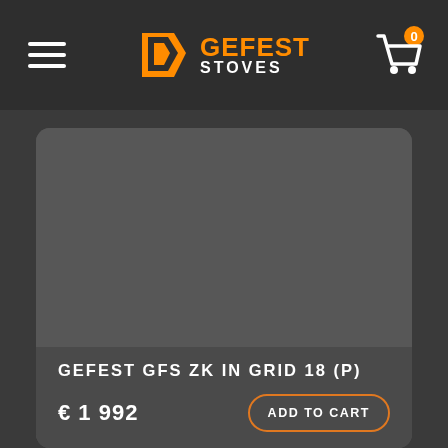GEFEST STOVES
GEFEST GFS ZK IN GRID 18 (P)
€ 1 992
ADD TO CART